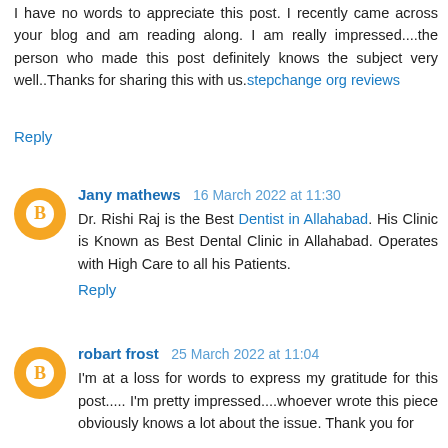I have no words to appreciate this post. I recently came across your blog and am reading along. I am really impressed....the person who made this post definitely knows the subject very well..Thanks for sharing this with us.stepchange org reviews
Reply
Jany mathews  16 March 2022 at 11:30
Dr. Rishi Raj is the Best Dentist in Allahabad. His Clinic is Known as Best Dental Clinic in Allahabad. Operates with High Care to all his Patients.
Reply
robart frost  25 March 2022 at 11:04
I'm at a loss for words to express my gratitude for this post..... I'm pretty impressed....whoever wrote this piece obviously knows a lot about the issue. Thank you for